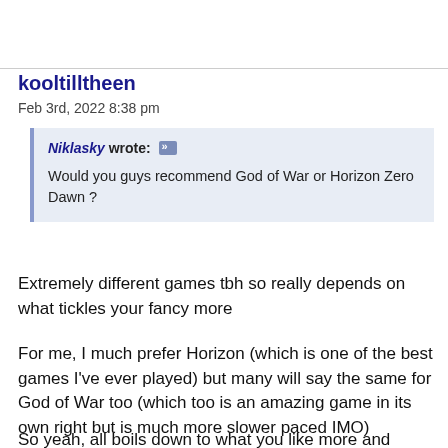kooltilltheen
Feb 3rd, 2022 8:38 pm
Niklasky wrote: Would you guys recommend God of War or Horizon Zero Dawn ?
Extremely different games tbh so really depends on what tickles your fancy more
For me, I much prefer Horizon (which is one of the best games I've ever played) but many will say the same for God of War too (which too is an amazing game in its own right but is much more slower paced IMO)
So yeah, all boils down to what you like more and which